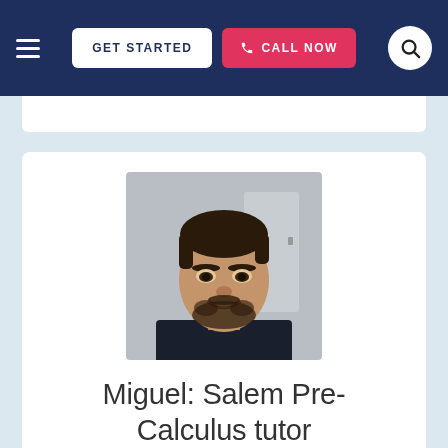GET STARTED  CALL NOW
[Figure (photo): Headshot photo of Miguel, a young man with dark hair and beard wearing a dark shirt, smiling at the camera.]
Miguel: Salem Pre-Calculus tutor